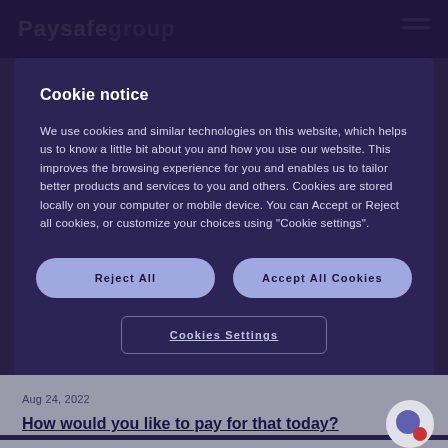Paysafe group
Cookie notice
We use cookies and similar technologies on this website, which helps us to know a little bit about you and how you use our website. This improves the browsing experience for you and enables us to tailor better products and services to you and others. Cookies are stored locally on your computer or mobile device. You can Accept or Reject all cookies, or customize your choices using "Cookie settings".
Reject All
Accept All Cookies
Cookies Settings
Aug 24, 2022
How would you like to pay for that today?